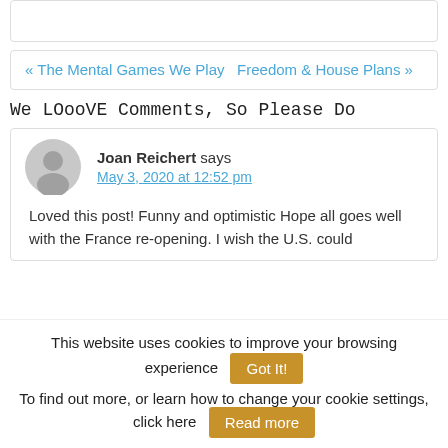« The Mental Games We Play  Freedom & House Plans »
We LOooVE Comments, So Please Do
Joan Reichert says
May 3, 2020 at 12:52 pm
Loved this post! Funny and optimistic Hope all goes well with the France re-opening. I wish the U.S. could
This website uses cookies to improve your browsing experience  Got It!
To find out more, or learn how to change your cookie settings, click here  Read more